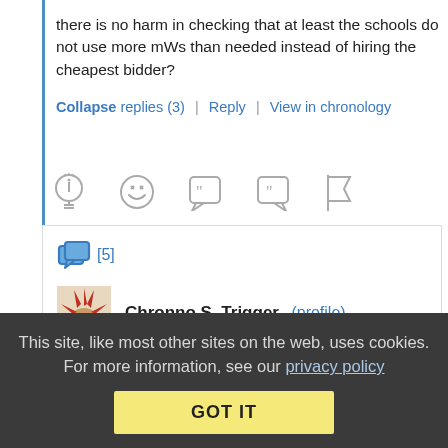there is no harm in checking that at least the schools do not use more mWs than needed instead of hiring the cheapest bidder?
Collapse replies (3) | Reply | View in chronology
[Figure (infographic): Row of comment action icons: lightbulb, laughing face, open quote bubble, close quote bubble, flag]
[5]
Chronno S. Trigger (profile)
December 3, 2015 at 9:16 am
This site, like most other sites on the web, uses cookies. For more information, see our privacy policy
GOT IT